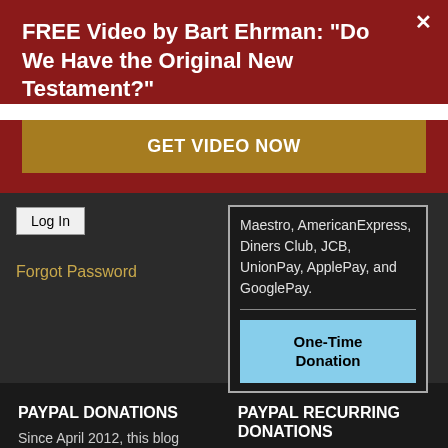FREE Video by Bart Ehrman: "Do We Have the Original New Testament?"
GET VIDEO NOW
Log In
Forgot Password
Maestro, AmericanExpress, Diners Club, JCB, UnionPay, ApplePay, and GooglePay.
One-Time Donation
PAYPAL DONATIONS
PAYPAL RECURRING DONATIONS
Since April 2012, this blog